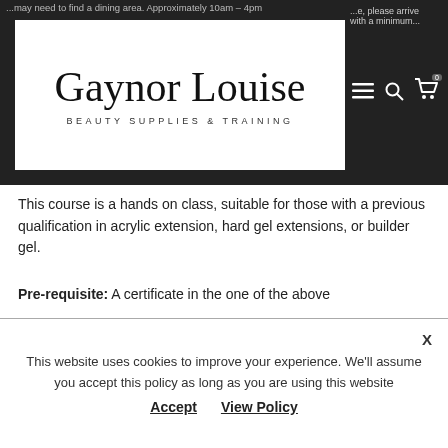...may need to find a dining area. Approximately 10am - 4pm
[Figure (logo): Gaynor Louise Beauty Supplies & Training logo — cursive script on white background]
This course is a hands on class, suitable for those with a previous qualification in acrylic extension, hard gel extensions, or builder gel.
Pre-requisite: A certificate in the one of the above
What you will learn:
Itinerary:
This website uses cookies to improve your experience. We'll assume you accept this policy as long as you are using this website  Accept  View Policy  X